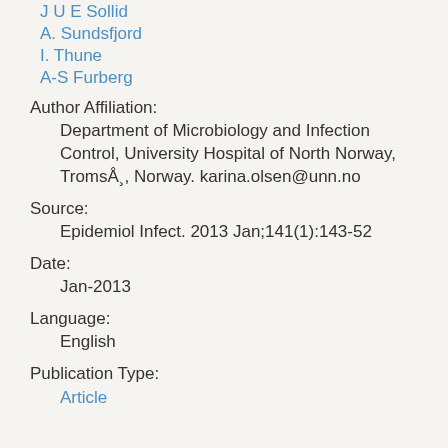J U E Sollid
A. Sundsfjord
I. Thune
A-S Furberg
Author Affiliation:
Department of Microbiology and Infection Control, University Hospital of North Norway, Tromsø, Norway. karina.olsen@unn.no
Source:
Epidemiol Infect. 2013 Jan;141(1):143-52
Date:
Jan-2013
Language:
English
Publication Type:
Article